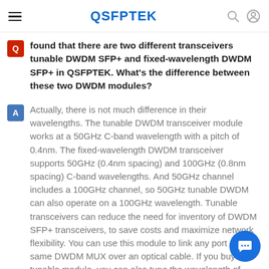QSFPTEK
found that there are two different transceivers tunable DWDM SFP+ and fixed-wavelength DWDM SFP+ in QSFPTEK. What's the difference between these two DWDM modules?
Actually, there is not much difference in their wavelengths. The tunable DWDM transceiver module works at a 50GHz C-band wavelength with a pitch of 0.4nm. The fixed-wavelength DWDM transceiver supports 50GHz (0.4nm spacing) and 100GHz (0.8nm spacing) C-band wavelengths. And 50GHz channel includes a 100GHz channel, so 50GHz tunable DWDM can also operate on a 100GHz wavelength. Tunable transceivers can reduce the need for inventory of DWDM SFP+ transceivers, to save costs and maximize network flexibility. You can use this module to link any port of the same DWDM MUX over an optical cable. If you buy a tunable module, you can also tune the wavelength of tunable transceiver.